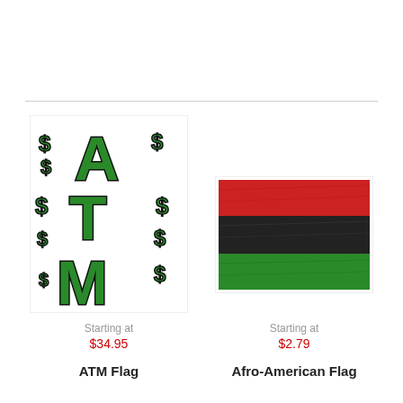[Figure (photo): ATM Flag product image - white background with large green block letters A, T, M and scattered green dollar signs with black outlines]
Starting at
$34.95
ATM Flag
[Figure (photo): Afro-American Flag product image - flag with three horizontal stripes: red on top, black in middle, green on bottom]
Starting at
$2.79
Afro-American Flag